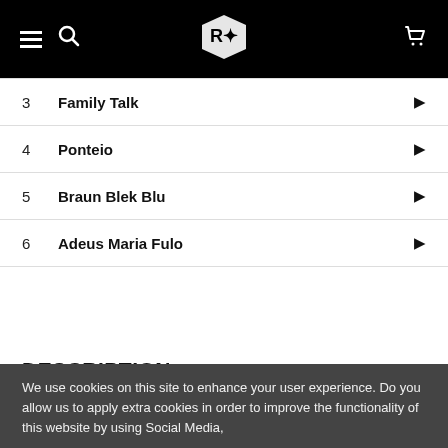Navigation bar with hamburger menu, search icon, logo, and cart icon
3  Family Talk
4  Ponteio
5  Braun Blek Blu
6  Adeus Maria Fulo
DESCRIPTION
Repress form this Brazil/jazz album, featuring artists such as Joe Beck, Joao Donato, Dom Salvador, Stanley Clarke etc. Recorded in 1973. Check 'Ponteio' or the percussive madness of 'Braun-blek-blue'.
We use cookies on this site to enhance your user experience. Do you allow us to apply extra cookies in order to improve the functionality of this website by using Social Media,